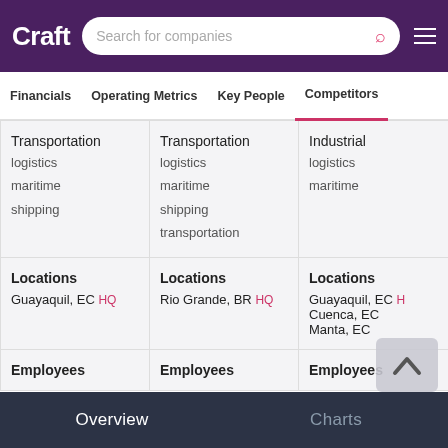Craft — Search for companies
Financials  Operating Metrics  Key People  Competitors
| Column 1 | Column 2 | Column 3 |
| --- | --- | --- |
| Transportation
logistics
maritime
shipping | Transportation
logistics
maritime
shipping
transportation | Industrial
logistics
maritime |
| Locations
Guayaquil, EC HQ | Locations
Rio Grande, BR HQ | Locations
Guayaquil, EC HQ
Cuenca, EC
Manta, EC |
| Employees | Employees | Employees |
Overview    Charts